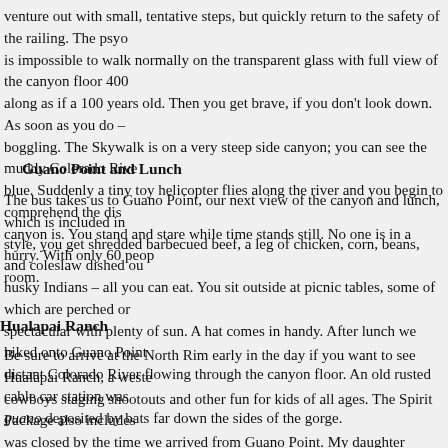venture out with small, tentative steps, but quickly return to the safety of the railing. The psycho is impossible to walk normally on the transparent glass with full view of the canyon floor 400 along as if a 100 years old. Then you get brave, if you don't look down. As soon as you do – boggling. The Skywalk is on a very steep side canyon; you can see the muddy Colorado Rive blue. Suddenly a tiny toy helicopter flies along the river and you begin to comprehend the dis canyon is. You stand and stare while time stands still. No one is in a hurry. With only 60 peop room.
Guano Point and Lunch
The bus takes us to Guano Point, our next view of the canyon and lunch, which is included in style, you get shredded barbecued beef, a leg of chicken, corn, beans, and coleslaw dished ou husky Indians – all you can eat. You sit outside at picnic tables, some of which are perched or spectacular with plenty of sun. A hat comes in handy. After lunch we hiked onto Guano Point distant Colorado River flowing through the canyon floor. An old rusted cable car station was guano deposited by bats far down the sides of the gorge.
Hualapai Ranch
Be sure to arrive at the North Rim early in the day if you want to see Hualapai Ranch, a weste cowboys staging shootouts and other fun for kids of all ages. The Spirit Package also includes was closed by the time we arrived from Guano Point. My daughter visited last year and assur Bonnie Spring outside Las Vegas by sRed Rock was better and that I did not miss anything.